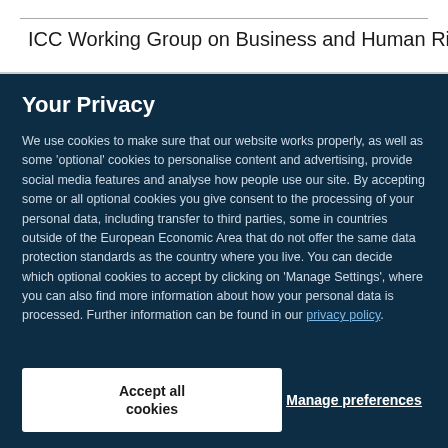ICC Working Group on Business and Human Rights (26
Your Privacy
We use cookies to make sure that our website works properly, as well as some 'optional' cookies to personalise content and advertising, provide social media features and analyse how people use our site. By accepting some or all optional cookies you give consent to the processing of your personal data, including transfer to third parties, some in countries outside of the European Economic Area that do not offer the same data protection standards as the country where you live. You can decide which optional cookies to accept by clicking on 'Manage Settings', where you can also find more information about how your personal data is processed. Further information can be found in our privacy policy.
Accept all cookies
Manage preferences